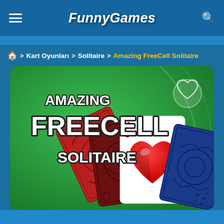FunnyGames
🏠 > Kart Oyunları > Solitaire > Amazing FreeCell Solitaire
[Figure (screenshot): Amazing FreeCell Solitaire game thumbnail on green background with playing cards and game title text]